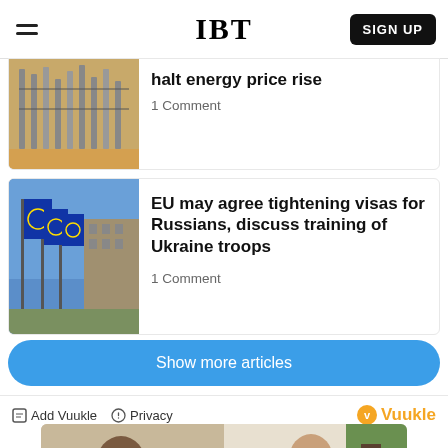IBT
halt energy price rise
1 Comment
EU may agree tightening visas for Russians, discuss training of Ukraine troops
1 Comment
Show more articles
Add Vuukle  Privacy  Vuukle
[Figure (photo): Bottom collage photo showing people]